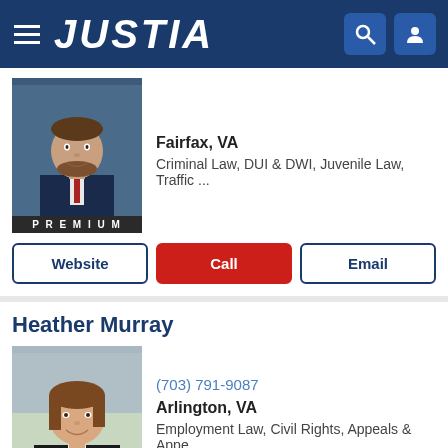JUSTIA
Fairfax, VA
Criminal Law, DUI & DWI, Juvenile Law, Traffic ...
Website | Call | Email
Heather Murray
(703) 791-9087
Arlington, VA
Employment Law, Civil Rights, Appeals & Appe...
Website | Call | Email
Benjamin N. Griffitts